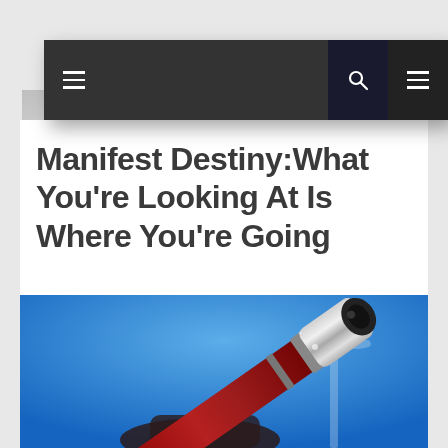Navigation bar with menu, search, and list icons
Manifest Destiny:What You're Looking At Is Where You're Going
[Figure (photo): A person holding a telescope pointed upward against a bright blue sky, with a blurred windmill or cross structure in the background. The telescope is metallic silver at the lens end and red/dark at the grip.]